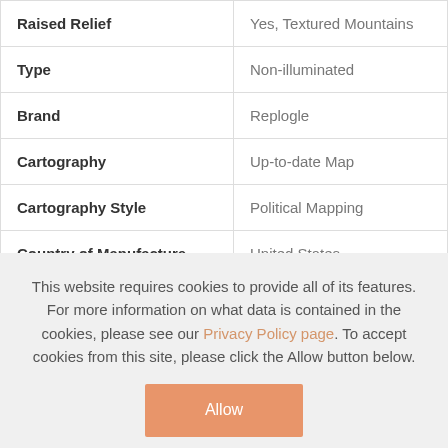| Attribute | Value |
| --- | --- |
| Raised Relief | Yes, Textured Mountains |
| Type | Non-illuminated |
| Brand | Replogle |
| Cartography | Up-to-date Map |
| Cartography Style | Political Mapping |
| Country of Manufacture | United States |
| Delivery Weight (kg) | 23 |
This website requires cookies to provide all of its features. For more information on what data is contained in the cookies, please see our Privacy Policy page. To accept cookies from this site, please click the Allow button below.